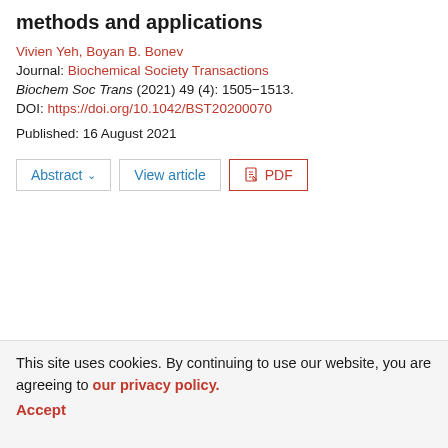methods and applications
Vivien Yeh, Boyan B. Bonev
Journal: Biochemical Society Transactions
Biochem Soc Trans (2021) 49 (4): 1505–1513.
DOI: https://doi.org/10.1042/BST20200070
Published: 16 August 2021
[Figure (other): Three buttons: Abstract with dropdown arrow, View article, and PDF]
This site uses cookies. By continuing to use our website, you are agreeing to our privacy policy. Accept